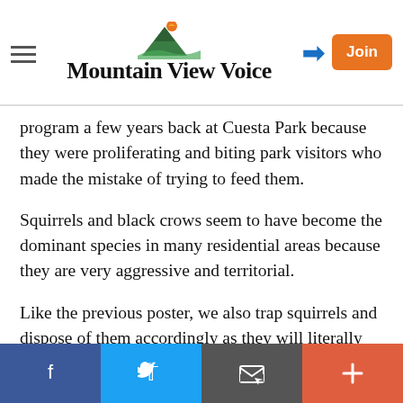Mountain View Voice
program a few years back at Cuesta Park because they were proliferating and biting park visitors who made the mistake of trying to feed them.
Squirrels and black crows seem to have become the dominant species in many residential areas because they are very aggressive and territorial.
Like the previous poster, we also trap squirrels and dispose of them accordingly as they will literally destroy your fruit and vegetable garden.
My husband considers squirrels rats with big tails and they are not welcome on our property.
Report Objectionable Content
Facebook | Twitter | Email | +